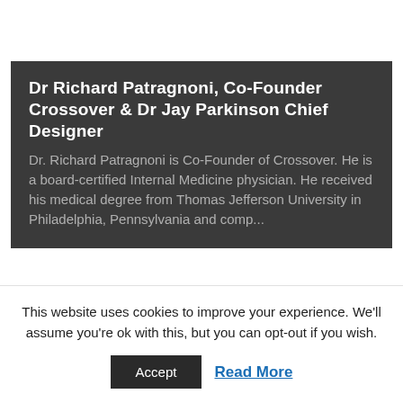Dr Richard Patragnoni, Co-Founder Crossover & Dr Jay Parkinson Chief Designer
Dr. Richard Patragnoni is Co-Founder of Crossover. He is a board-certified Internal Medicine physician. He received his medical degree from Thomas Jefferson University in Philadelphia, Pennsylvania and comp...
This website uses cookies to improve your experience. We'll assume you're ok with this, but you can opt-out if you wish.
Accept
Read More